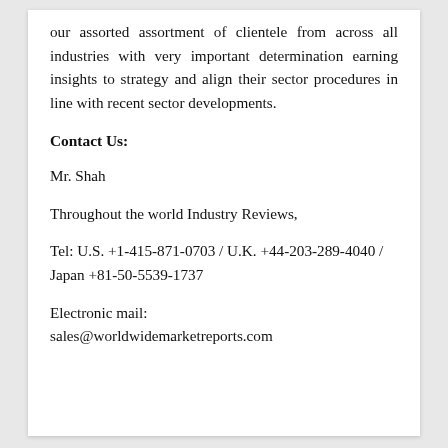our assorted assortment of clientele from across all industries with very important determination earning insights to strategy and align their sector procedures in line with recent sector developments.
Contact Us:
Mr. Shah
Throughout the world Industry Reviews,
Tel: U.S. +1-415-871-0703 / U.K. +44-203-289-4040 / Japan +81-50-5539-1737
Electronic mail:
sales@worldwidemarketreports.com